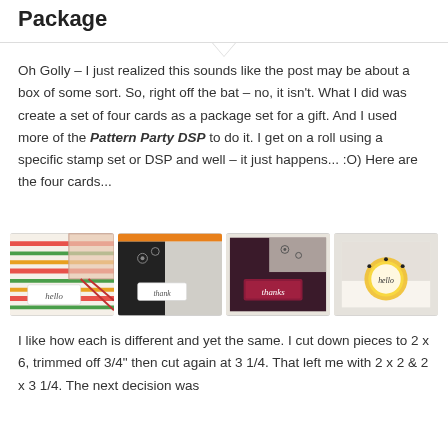Package
Oh Golly – I just realized this sounds like the post may be about a box of some sort. So, right off the bat – no, it isn't. What I did was create a set of four cards as a package set for a gift. And I used more of the Pattern Party DSP to do it. I get on a roll using a specific stamp set or DSP and well – it just happens... :O) Here are the four cards...
[Figure (photo): Four handmade greeting cards side by side: first card with colorful diagonal stripes and a 'hello' label, second card with dark and patterned panels and 'thank' label, third card with dark background and 'thanks' label, fourth card with black and white pattern and a gold circle with 'hello' label.]
I like how each is different and yet the same. I cut down pieces to 2 x 6, trimmed off 3/4" then cut again at 3 1/4. That left me with 2 x 2 & 2 x 3 1/4. The next decision was